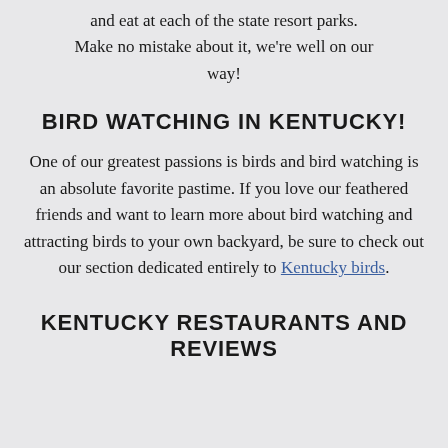and eat at each of the state resort parks. Make no mistake about it, we're well on our way!
BIRD WATCHING IN KENTUCKY!
One of our greatest passions is birds and bird watching is an absolute favorite pastime. If you love our feathered friends and want to learn more about bird watching and attracting birds to your own backyard, be sure to check out our section dedicated entirely to Kentucky birds.
KENTUCKY RESTAURANTS AND REVIEWS